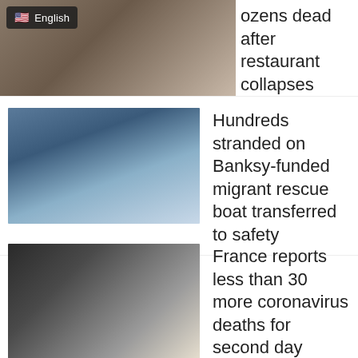[Figure (photo): Partial news thumbnail with English language selector overlay, showing aerial/overhead view]
ozens dead after restaurant collapses during rthday party in China
[Figure (photo): Crowd of migrants on a rescue boat]
Hundreds stranded on Banksy-funded migrant rescue boat transferred to safety
[Figure (photo): People walking outside a building, one in orange pants]
France reports less than 30 more coronavirus deaths for second day
[Figure (photo): Crowd of people gathered outside Hong Kong legislature building]
Riot police shield Hong Kong legislature as protests gather against anthem bill
[Figure (photo): Interior of South Korean cafe with robot barista]
South Korean cafe hires robot barista to help with social distancing